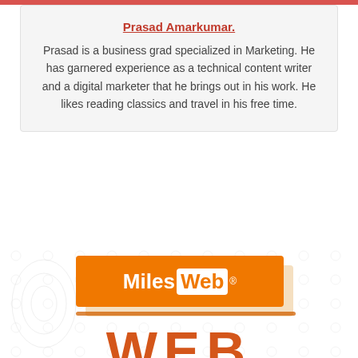Prasad Amarkumar.
Prasad is a business grad specialized in Marketing. He has garnered experience as a technical content writer and a digital marketer that he brings out in his work. He likes reading classics and travel in his free time.
[Figure (logo): MilesWeb logo — orange rectangle with 'Miles' in white bold text and 'Web' in an white-background orange-text badge, registered trademark symbol, with a cream/peach shadow box behind it, an orange underline stroke below, and large orange 'WEB' text below. Background has a faint watermark pattern.]